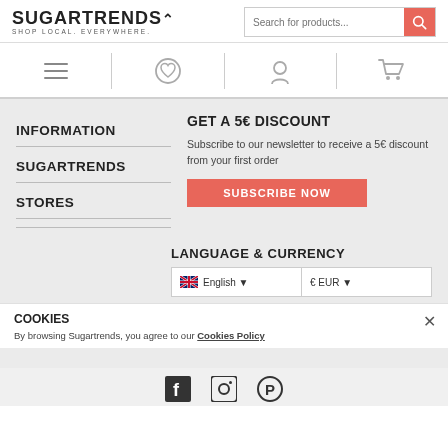SUGARTRENDS. SHOP LOCAL. EVERYWHERE. — Search for products...
[Figure (screenshot): Navigation icon row with hamburger menu, heart/wishlist, user account, and shopping cart icons separated by vertical lines]
INFORMATION
SUGARTRENDS
STORES
GET A 5€ DISCOUNT
Subscribe to our newsletter to receive a 5€ discount from your first order
SUBSCRIBE NOW
LANGUAGE & CURRENCY
[Figure (screenshot): Language and currency selector bar showing UK flag with 'English' dropdown and '€ EUR' dropdown]
COOKIES
By browsing Sugartrends, you agree to our Cookies Policy
[Figure (screenshot): Footer social media icons: Facebook, Instagram, and Pinterest]